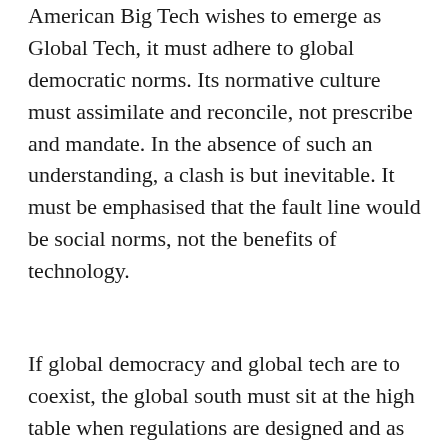American Big Tech wishes to emerge as Global Tech, it must adhere to global democratic norms. Its normative culture must assimilate and reconcile, not prescribe and mandate. In the absence of such an understanding, a clash is but inevitable. It must be emphasised that the fault line would be social norms, not the benefits of technology.
If global democracy and global tech are to coexist, the global south must sit at the high table when regulations are designed and as ethics are embedded in algorithms. Today, the global south's